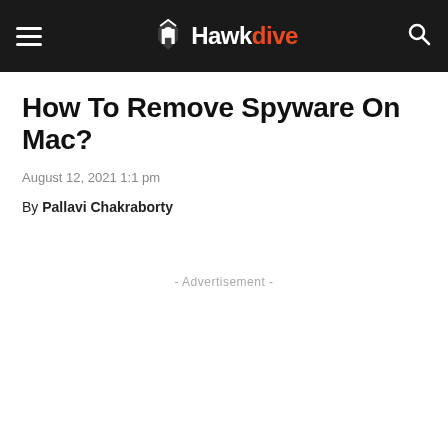Hawkdive
How To Remove Spyware On Mac?
August 12, 2021 1:1 pm
By Pallavi Chakraborty
- Advertisement -